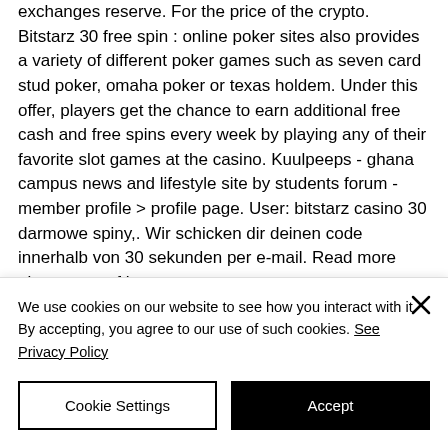exchanges reserve. For the price of the crypto. Bitstarz 30 free spin : online poker sites also provides a variety of different poker games such as seven card stud poker, omaha poker or texas holdem. Under this offer, players get the chance to earn additional free cash and free spins every week by playing any of their favorite slot games at the casino. Kuulpeeps - ghana campus news and lifestyle site by students forum - member profile &gt; profile page. User: bitstarz casino 30 darmowe spiny,. Wir schicken dir deinen code innerhalb von 30 sekunden per e-mail. Read more about passref here.
We use cookies on our website to see how you interact with it. By accepting, you agree to our use of such cookies. See Privacy Policy
Cookie Settings
Accept